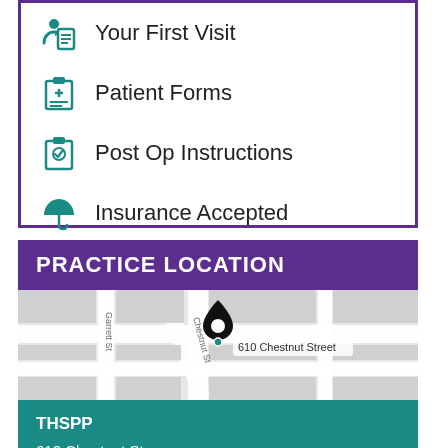Your First Visit
Patient Forms
Post Op Instructions
Insurance Accepted
PRACTICE LOCATION
[Figure (map): Street map showing location at 610 Chestnut Street, South Charleston WV]
THSPP
610 Chestnut St
South Charleston, WV 25309
(304) 767-7790